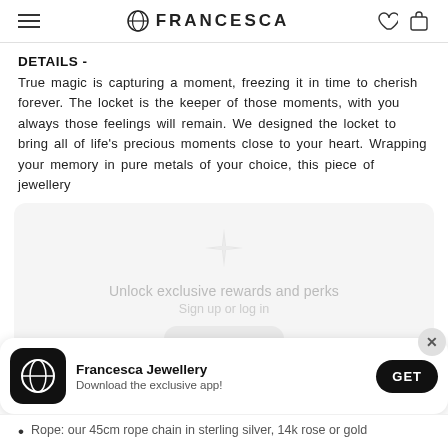FRANCESCA
DETAILS -
True magic is capturing a moment, freezing it in time to cherish forever. The locket is the keeper of those moments, with you always those feelings will remain. We designed the locket to bring all of life's precious moments close to your heart. Wrapping your memory in pure metals of your choice, this piece of jewellery
[Figure (screenshot): Rewards/login overlay card with sparkle icon, text 'Unlock exclusive rewards and perks', 'Sign up or log in' subtext, and a button area. Below it is an app download banner for Francesca Jewellery with app icon, description 'Download the exclusive app!' and a GET button.]
Rope: our 45cm rope chain in sterling silver, 14k rose or gold